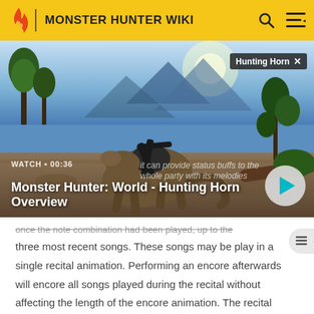MONSTER HUNTER WIKI
[Figure (screenshot): Video thumbnail from Monster Hunter: World showing a creature with a Hunting Horn weapon in a jungle/outdoor environment. Overlay shows 'Hunting Horn X' tag. Play button visible. WATCH • 00:36 label. Title: Monster Hunter: World - Hunting Horn Overview. Subtitle overlay: 'it can provide status buffs to the whole party with its melodies']
once the note combination had been played, up to the three most recent songs. These songs may be play in a single recital animation. Performing an encore afterwards will encore all songs played during the recital without affecting the length of the encore animation. The recital animation can now be